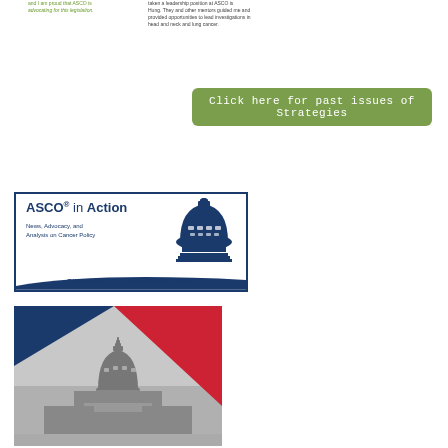and I am proud that ASCO is advocating for this legislation.
taken a leadership position at ASCO is Hung. They and other mentors guided me and provided opportunities to lead investigations in head and neck and lung cancer.
[Figure (other): Green button: Click here for past issues of Strategies]
[Figure (other): ASCO in Action banner: News, Advocacy, and Analysis on Cancer Policy. Click here for current ASCO News]
[Figure (photo): Capitol building photograph with red white and blue diagonal graphic overlay]